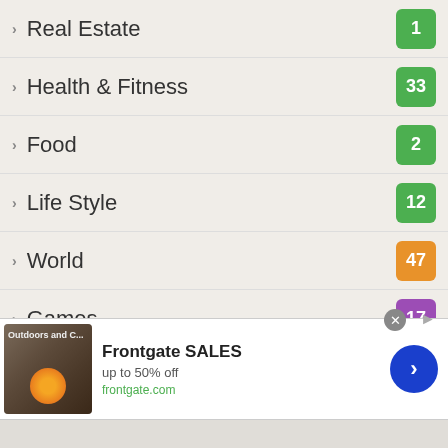Real Estate — 1
Health & Fitness — 33
Food — 2
Life Style — 12
World — 47
Games — 17
Travel — 8
Foods — 8
Travels & Tours — 3
Lifestyle — 49
Home Improvement — 20
[Figure (other): Advertisement banner for Frontgate SALES, up to 50% off, frontgate.com, with patio furniture image and navigation arrow]